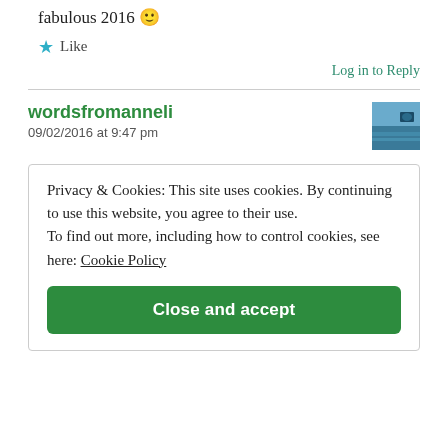fabulous 2016 🙂
★ Like
Log in to Reply
wordsfromanneli
09/02/2016 at 9:47 pm
Privacy & Cookies: This site uses cookies. By continuing to use this website, you agree to their use. To find out more, including how to control cookies, see here: Cookie Policy
Close and accept